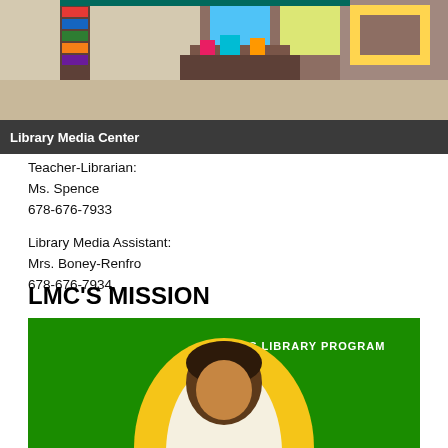[Figure (photo): Photo of a library media center interior showing shelves, displays, and books]
Library Media Center
Teacher-Librarian:
Ms. Spence
678-676-7933
Library Media Assistant:
Mrs. Boney-Renfro
678-676-7934
LMC'S MISSION
[Figure (illustration): Green background illustration of a person (SMS Library Program graphic) with golden arch and dark hair figure, text reads 'SMS LIBRARY PROGRAM']